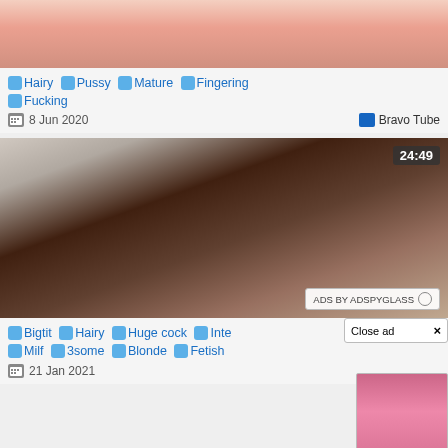[Figure (screenshot): Thumbnail image of a person in a pink dress, top portion cropped]
🏷 Hairy 🏷 Pussy 🏷 Mature 🏷 Fingering 🏷 Fucking
8 Jun 2020   Bravo Tube
[Figure (screenshot): Video thumbnail showing two people on a white bed, duration badge 24:49]
🏷 Bigtit 🏷 Hairy 🏷 Huge cock 🏷 Inte... 🏷 Milf 🏷 3some 🏷 Blonde 🏷 Fetish
21 Jan 2021
ADS BY ADSPYGLASS
Close ad ×